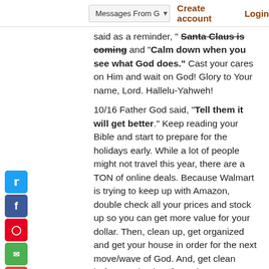Messages From G... | Create account | Login
said as a reminder, "Santa Claus is coming and "Calm down when you see what God does." Cast your cares on Him and wait on God! Glory to Your name, Lord. Hallelu-Yahweh!
10/16 Father God said, "Tell them it will get better." Keep reading your Bible and start to prepare for the holidays early. While a lot of people might not travel this year, there are a TON of online deals. Because Walmart is trying to keep up with Amazon, double check all your prices and stock up so you can get more value for your dollar. Then, clean up, get organized and get your house in order for the next move/wave of God. And, get clean before God. A lot of people are frustrated and venting OUT but God doesn't like murmuring, griping or complaining. So, let's get in prayer, confess all sins and quit complaining. Praise draws God in. Complaining pushes Him away. If you catch yourself saying "Why isn't God